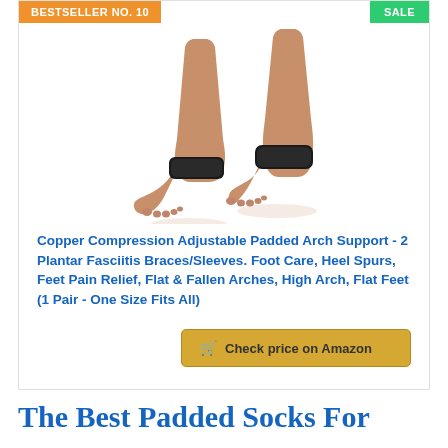BESTSELLER NO. 10
SALE
[Figure (photo): Product photo showing two feet wearing black Copper Compression adjustable padded arch support braces/sleeves.]
Copper Compression Adjustable Padded Arch Support - 2 Plantar Fasciitis Braces/Sleeves. Foot Care, Heel Spurs, Feet Pain Relief, Flat & Fallen Arches, High Arch, Flat Feet (1 Pair - One Size Fits All)
Check price on Amazon
The Best Padded Socks For